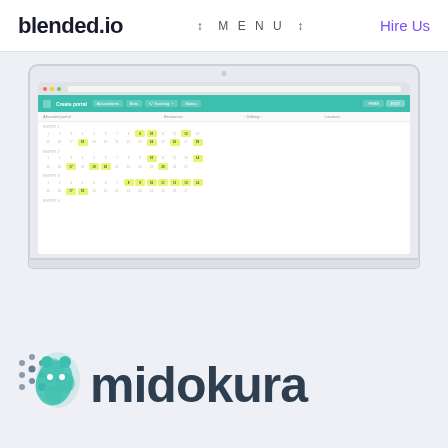blended.io | MENU | Hire Us
[Figure (screenshot): Laptop mockup showing a calendar/scheduling web application with a teal navigation bar labeled 'Create portal', calendar grids with yellow-green highlighted dates, and column headers for Resources, Editing, and Location.]
[Figure (logo): Midokura company logo with stylized network/molecule icon on the left and 'midokura' text in dark teal/navy bold font on the right.]